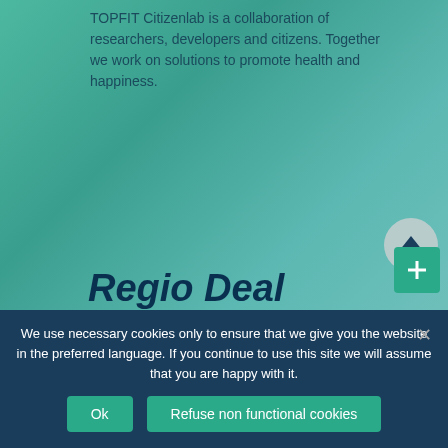TOPFIT Citizenlab is a collaboration of researchers, developers and citizens. Together we work on solutions to promote health and happiness.
Regio Deal Twente
TOPFIT Citizenlab was made possible in part by means of the Regio Deal Twente
[Figure (logo): Rijksoverheid logo]
[Figure (logo): Universiteit Twente logo]
We use necessary cookies only to ensure that we give you the website in the preferred language. If you continue to use this site we will assume that you are happy with it.
Ok
Refuse non functional cookies